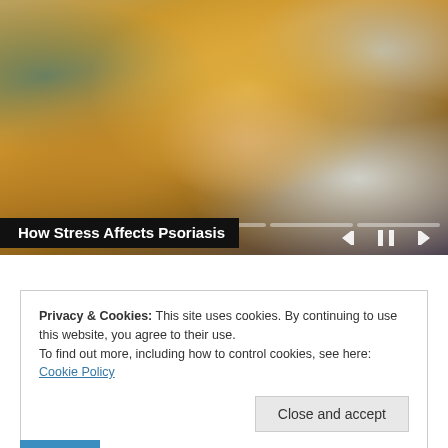[Figure (photo): Woman in a yellow/mustard knit sweater sitting on a couch, scratching or examining her arm/elbow, suggesting a skin condition like psoriasis. Video player interface with progress bar segments and media controls (previous, pause, next) visible at the bottom.]
How Stress Affects Psoriasis
Privacy & Cookies: This site uses cookies. By continuing to use this website, you agree to their use.
To find out more, including how to control cookies, see here: Cookie Policy